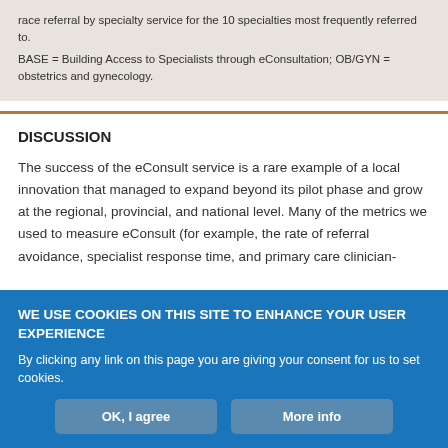race referral by specialty service for the 10 specialties most frequently referred to.

BASE = Building Access to Specialists through eConsultation; OB/GYN = obstetrics and gynecology.
DISCUSSION
The success of the eConsult service is a rare example of a local innovation that managed to expand beyond its pilot phase and grow at the regional, provincial, and national level. Many of the metrics we used to measure eConsult (for example, the rate of referral avoidance, specialist response time, and primary care clinician-
WE USE COOKIES ON THIS SITE TO ENHANCE YOUR USER EXPERIENCE

By clicking any link on this page you are giving your consent for us to set cookies.